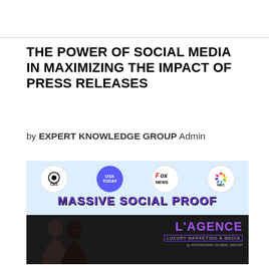THE POWER OF SOCIAL MEDIA IN MAXIMIZING THE IMPACT OF PRESS RELEASES
by EXPERT KNOWLEDGE GROUP Admin
[Figure (infographic): Promotional infographic showing media logos (CBS, USA Today, Fox News, NBC) above text reading MASSIVE SOCIAL PROOF, and below a dark photo of two women with L'AGENCE Luxury Marketing & Media branding and Antonchak Global Group credit.]